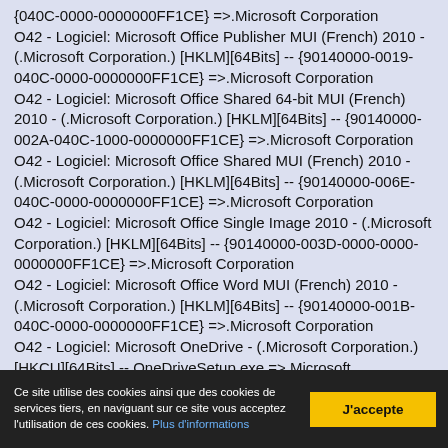{040C-0000-0000000FF1CE} =>.Microsoft Corporation
O42 - Logiciel: Microsoft Office Publisher MUI (French) 2010 - (.Microsoft Corporation.) [HKLM][64Bits] -- {90140000-0019-040C-0000-0000000FF1CE} =>.Microsoft Corporation
O42 - Logiciel: Microsoft Office Shared 64-bit MUI (French) 2010 - (.Microsoft Corporation.) [HKLM][64Bits] -- {90140000-002A-040C-1000-0000000FF1CE} =>.Microsoft Corporation
O42 - Logiciel: Microsoft Office Shared MUI (French) 2010 - (.Microsoft Corporation.) [HKLM][64Bits] -- {90140000-006E-040C-0000-0000000FF1CE} =>.Microsoft Corporation
O42 - Logiciel: Microsoft Office Single Image 2010 - (.Microsoft Corporation.) [HKLM][64Bits] -- {90140000-003D-0000-0000-0000000FF1CE} =>.Microsoft Corporation
O42 - Logiciel: Microsoft Office Word MUI (French) 2010 - (.Microsoft Corporation.) [HKLM][64Bits] -- {90140000-001B-040C-0000-0000000FF1CE} =>.Microsoft Corporation
O42 - Logiciel: Microsoft OneDrive - (.Microsoft Corporation.) [HKCU][64Bits] -- OneDriveSetup.exe =>.Microsoft Corporation®
Ce site utilise des cookies ainsi que des cookies de services tiers, en naviguant sur ce site vous acceptez l'utilisation de ces cookies. Plus d'informations